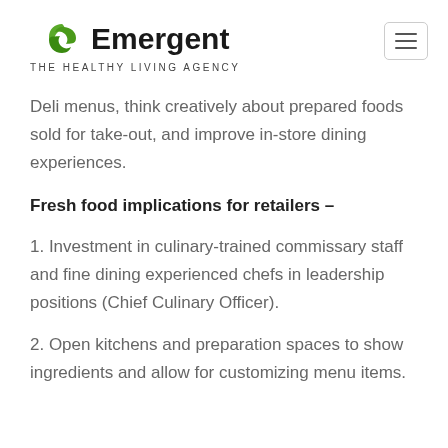Emergent THE HEALTHY LIVING AGENCY
Deli menus, think creatively about prepared foods sold for take-out, and improve in-store dining experiences.
Fresh food implications for retailers –
1. Investment in culinary-trained commissary staff and fine dining experienced chefs in leadership positions (Chief Culinary Officer).
2. Open kitchens and preparation spaces to show ingredients and allow for customizing menu items.